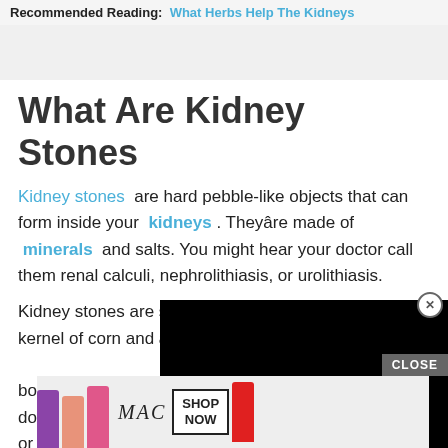Recommended Reading: What Herbs Help The Kidneys
What Are Kidney Stones
Kidney stones are hard pebble-like objects that can form inside your kidneys. They're made of minerals and salts. You might hear your doctor call them renal calculi, nephrolithiasis, or urolithiasis.
Kidney stones are small — usually between a kernel of corn and a grain of salt — and form when your body has too much of certain minerals, or when it doesn't have enough liquid. The stones can be brown or yellow, and smooth or rough.
[Figure (other): Black video/ad overlay popup covering part of the text, with a close (X) button in upper right corner]
[Figure (other): Advertisement banner for MAC cosmetics showing lipstick products in purple, pink, coral and red, with MAC logo, SHOP NOW button, and a CLOSE button]
Kidney stones... (partially visible, cut off)